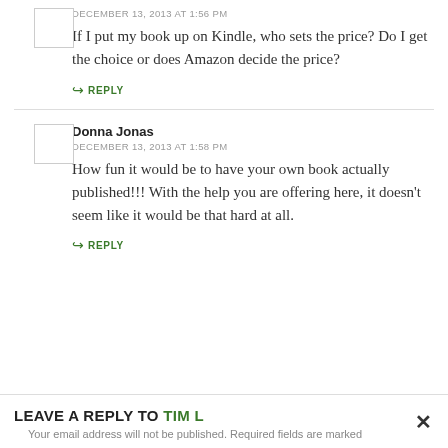DECEMBER 13, 2013 AT 1:56 PM
If I put my book up on Kindle, who sets the price? Do I get the choice or does Amazon decide the price?
REPLY
Donna Jonas
DECEMBER 13, 2013 AT 1:58 PM
How fun it would be to have your own book actually published!!! With the help you are offering here, it doesn't seem like it would be that hard at all.
REPLY
LEAVE A REPLY TO TIM L
Your email address will not be published. Required fields are marked